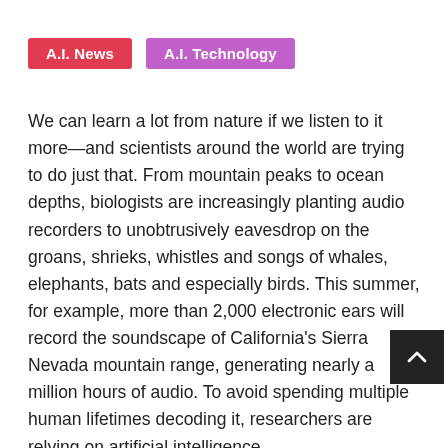A.I. News
A.I. Technology
We can learn a lot from nature if we listen to it more—and scientists around the world are trying to do just that. From mountain peaks to ocean depths, biologists are increasingly planting audio recorders to unobtrusively eavesdrop on the groans, shrieks, whistles and songs of whales, elephants, bats and especially birds. This summer, for example, more than 2,000 electronic ears will record the soundscape of California's Sierra Nevada mountain range, generating nearly a million hours of audio. To avoid spending multiple human lifetimes decoding it, researchers are relying on artificial intelligence.
Such recordings can create valuable snapshots of animal communities and help conservationists understand, in vivid detail, how policies and management practices affect an entire